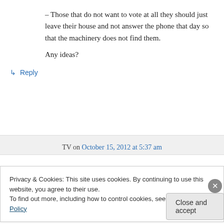– Those that do not want to vote at all they should just leave their house and not answer the phone that day so that the machinery does not find them.

Any ideas?
↳ Reply
TV on October 15, 2012 at 5:37 am
Privacy & Cookies: This site uses cookies. By continuing to use this website, you agree to their use.
To find out more, including how to control cookies, see here: Cookie Policy
Close and accept